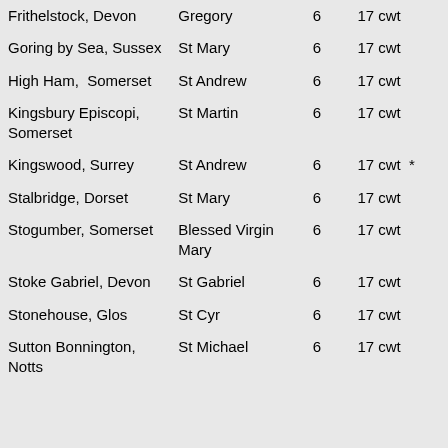| Location | Church | Bells | Weight |
| --- | --- | --- | --- |
| Frithelstock, Devon | Gregory | 6 | 17 cwt |
| Goring by Sea, Sussex | St Mary | 6 | 17 cwt |
| High Ham, Somerset | St Andrew | 6 | 17 cwt |
| Kingsbury Episcopi, Somerset | St Martin | 6 | 17 cwt |
| Kingswood, Surrey | St Andrew | 6 | 17 cwt * |
| Stalbridge, Dorset | St Mary | 6 | 17 cwt |
| Stogumber, Somerset | Blessed Virgin Mary | 6 | 17 cwt |
| Stoke Gabriel, Devon | St Gabriel | 6 | 17 cwt |
| Stonehouse, Glos | St Cyr | 6 | 17 cwt |
| Sutton Bonnington, Notts | St Michael | 6 | 17 cwt |